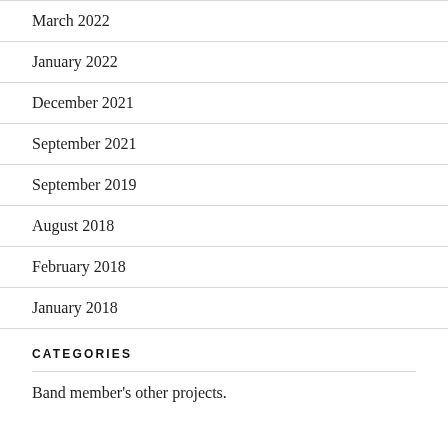March 2022
January 2022
December 2021
September 2021
September 2019
August 2018
February 2018
January 2018
CATEGORIES
Band member's other projects.